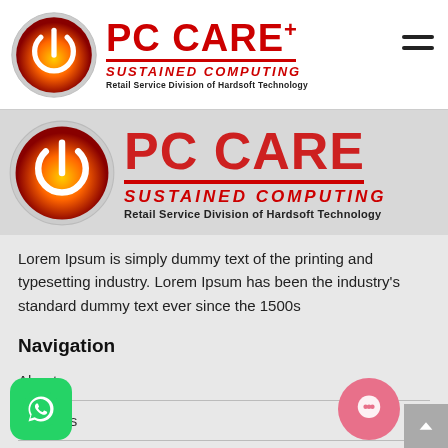[Figure (logo): PC CARE+ logo with power button circle icon, red bold text 'PC CARE+', red underline, 'SUSTAINED COMPUTING' in red italic, 'Retail Service Division of Hardsoft Technology' in black bold small text. Navigation hamburger menu icon top right.]
[Figure (logo): Second (larger) instance of PC CARE+ logo showing partial/cropped view as if page is scrolled, same design elements.]
Lorem Ipsum is simply dummy text of the printing and typesetting industry. Lorem Ipsum has been the industry's standard dummy text ever since the 1500s
Navigation
About
Features
r Policy